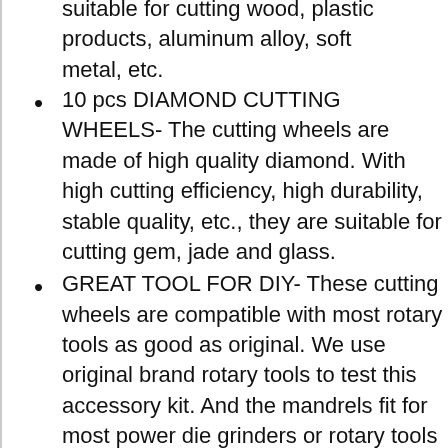suitable for cutting wood, plastic products, aluminum alloy, soft metal, etc.
10 pcs DIAMOND CUTTING WHEELS- The cutting wheels are made of high quality diamond. With high cutting efficiency, high durability, stable quality, etc., they are suitable for cutting gem, jade and glass.
GREAT TOOL FOR DIY- These cutting wheels are compatible with most rotary tools as good as original. We use original brand rotary tools to test this accessory kit. And the mandrels fit for most power die grinders or rotary tools & air tools.
International products have...